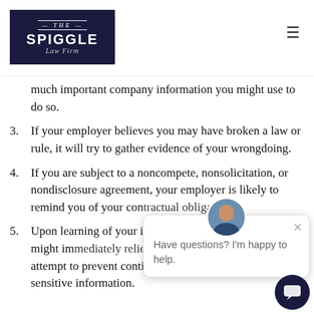THE SPIGGLE Law Firm
much important company information you might use to do so.
3. If your employer believes you may have broken a law or rule, it will try to gather evidence of your wrongdoing.
4. If you are subject to a noncompete, nonsolicitation, or nondisclosure agreement, your employer is likely to remind you of your con[tractual obligations].
5. Upon learning of your i[ntention to leave], your employer might i[mmediately relieve you of your] duties in an attempt to prevent continued access to sensitive information.